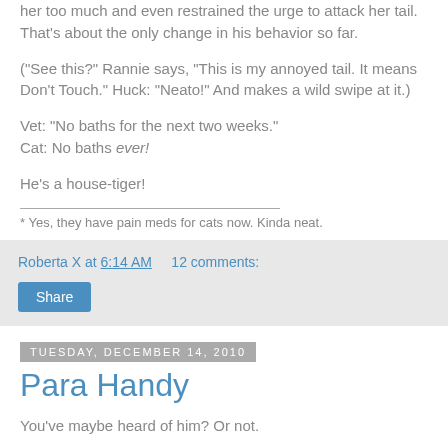her too much and even restrained the urge to attack her tail. That's about the only change in his behavior so far.
("See this?" Rannie says, "This is my annoyed tail. It means Don't Touch." Huck: "Neato!" And makes a wild swipe at it.)
Vet: "No baths for the next two weeks."
Cat: No baths ever!
He's a house-tiger!
* Yes, they have pain meds for cats now. Kinda neat.
Roberta X at 6:14 AM    12 comments:
Share
Tuesday, December 14, 2010
Para Handy
You've maybe heard of him? Or not.